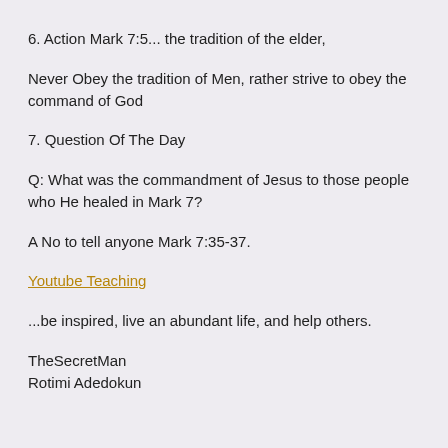6. Action Mark 7:5... the tradition of the elder,
Never Obey the tradition of Men, rather strive to obey the command of God
7. Question Of The Day
Q: What was the commandment of Jesus to those people who He healed in Mark 7?
A No to tell anyone Mark 7:35-37.
Youtube Teaching
...be inspired, live an abundant life, and help others.
TheSecretMan
Rotimi Adedokun